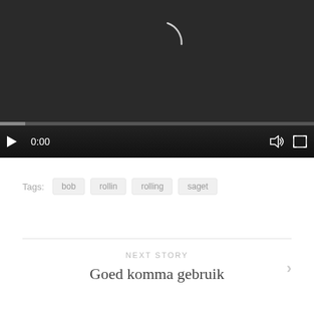[Figure (screenshot): Video player with dark background showing a loading spinner (partial circle arc) in the center, play button, 0:00 timestamp, volume icon, and fullscreen icon in the controls bar, with a progress bar below.]
Tags: bob rollin rolling saget
NEXT STORY
Goed komma gebruik